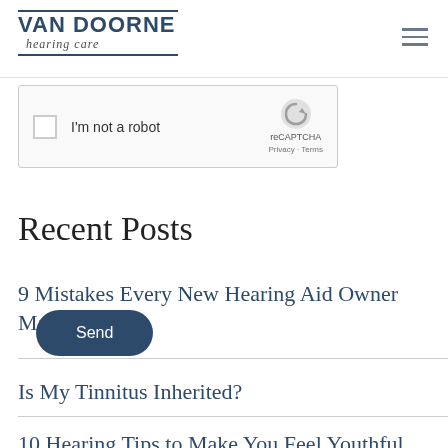VAN DOORNE hearing care
[Figure (screenshot): reCAPTCHA widget with checkbox labeled 'I'm not a robot' and Google reCAPTCHA logo with Privacy and Terms links]
[Figure (other): Send button - dark navy rounded pill button with white text 'Send']
Recent Posts
9 Mistakes Every New Hearing Aid Owner Makes
Is My Tinnitus Inherited?
10 Hearing Tips to Make You Feel Youthful